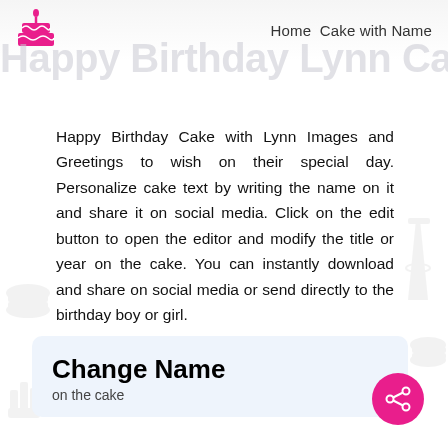Home  Cake with Name
Happy Birthday Lynn Cake
Happy Birthday Cake with Lynn Images and Greetings to wish on their special day. Personalize cake text by writing the name on it and share it on social media. Click on the edit button to open the editor and modify the title or year on the cake. You can instantly download and share on social media or send directly to the birthday boy or girl.
Change Name
on the cake